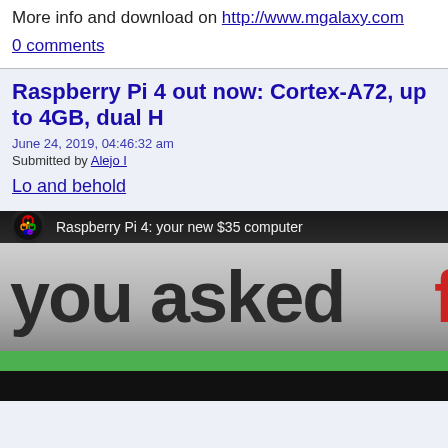More info and download on http://www.mgalaxy.com
0 comments
Raspberry Pi 4 out now: Cortex-A72, up to 4GB, dual H
June 24, 2019, 04:46:32 am
Submitted by Alejo I
Lo and behold
[Figure (screenshot): Screenshot of a Raspberry Pi 4 promotional video thumbnail showing text 'Raspberry Pi 4: your new $35 computer' and large text 'you asked f' with a red letter, over a gradient background with Raspberry Pi logo.]